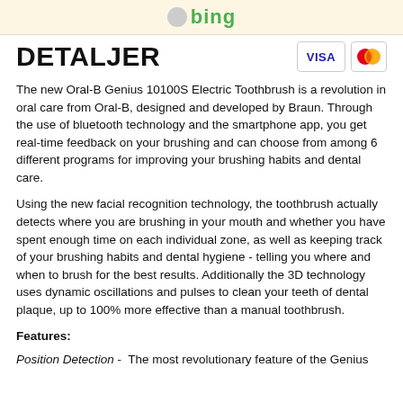[Figure (logo): Bing logo with green text and grey circle icon on a cream/beige background banner]
DETALJER
[Figure (logo): VISA payment logo in blue text with border, and MasterCard logo with red and orange overlapping circles]
The new Oral-B Genius 10100S Electric Toothbrush is a revolution in oral care from Oral-B, designed and developed by Braun. Through the use of bluetooth technology and the smartphone app, you get real-time feedback on your brushing and can choose from among 6 different programs for improving your brushing habits and dental care.
Using the new facial recognition technology, the toothbrush actually detects where you are brushing in your mouth and whether you have spent enough time on each individual zone, as well as keeping track of your brushing habits and dental hygiene - telling you where and when to brush for the best results. Additionally the 3D technology uses dynamic oscillations and pulses to clean your teeth of dental plaque, up to 100% more effective than a manual toothbrush.
Features:
Position Detection -  The most revolutionary feature of the Genius 10100S Electric Toothbrush...